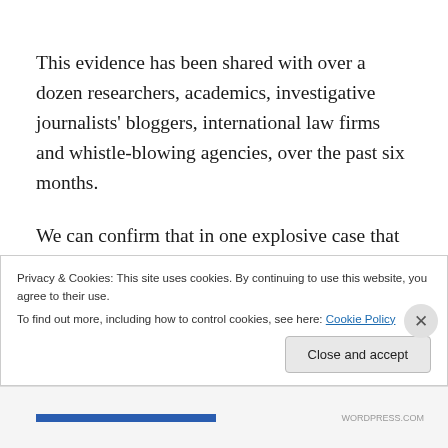This evidence has been shared with over a dozen researchers, academics, investigative journalists' bloggers, international law firms and whistle-blowing agencies, over the past six months.
We can confirm that in one explosive case that is currently proceeding through the Victorian courts, an innocent Australian citizen, was allegedly subjected to intrusive and abusive surveillance by both state and federal law...
Privacy & Cookies: This site uses cookies. By continuing to use this website, you agree to their use.
To find out more, including how to control cookies, see here: Cookie Policy